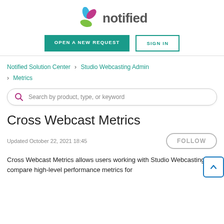[Figure (logo): Notified logo with colorful pinwheel/flower icon and 'notified' text in gray]
[Figure (screenshot): Two buttons: 'OPEN A NEW REQUEST' (teal filled) and 'SIGN IN' (teal outlined)]
Notified Solution Center › Studio Webcasting Admin › Metrics
Search by product, type, or keyword
Cross Webcast Metrics
Updated October 22, 2021 18:45
Cross Webcast Metrics allows users working with Studio Webcasting to compare high-level performance metrics for